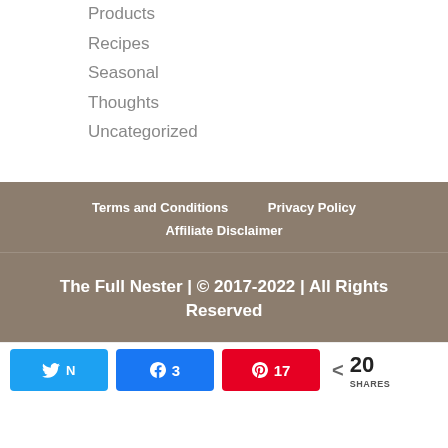Products
Recipes
Seasonal
Thoughts
Uncategorized
Terms and Conditions    Privacy Policy    Affiliate Disclaimer
The Full Nester | © 2017-2022 | All Rights Reserved
N 3  Pin 17  < 20 SHARES